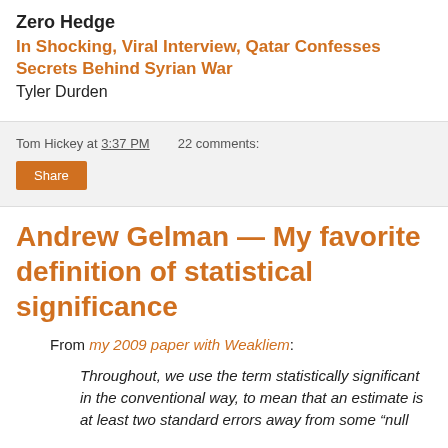Zero Hedge
In Shocking, Viral Interview, Qatar Confesses Secrets Behind Syrian War
Tyler Durden
Tom Hickey at 3:37 PM    22 comments:
Share
Andrew Gelman — My favorite definition of statistical significance
From my 2009 paper with Weakliem:
Throughout, we use the term statistically significant in the conventional way, to mean that an estimate is at least two standard errors away from some “null